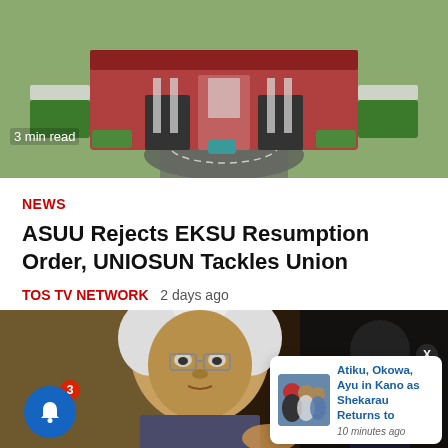[Figure (photo): Aerial view of a large brick house with red roof, green hedges, and a circular driveway]
3 min read
NEWS
ASUU Rejects EKSU Resumption Order, UNIOSUN Tackles Union
TOS TV NETWORK   2 days ago
[Figure (photo): Close-up portrait of an elderly man with white afro hair and glasses]
[Figure (photo): Notification thumbnail showing group of people in political attire]
Atiku, Okowa, Ayu in Kano as Shekarau Returns to
10 minutes ago